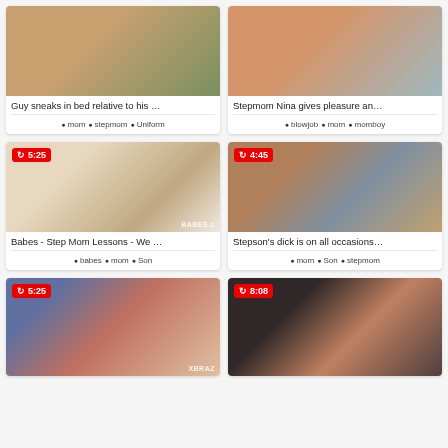[Figure (screenshot): Thumbnail for video: Guy sneaks in bed relative to his ...]
Guy sneaks in bed relative to his ...
mom  stepmom  Uniform
[Figure (screenshot): Thumbnail for video: Stepmom Nina gives pleasure an...]
Stepmom Nina gives pleasure an...
blowjob  mom  momboy
[Figure (screenshot): Thumbnail for video: Babes - Step Mom Lessons - We ... Duration: 5:25]
Babes - Step Mom Lessons - We ...
babes  mom  Son
[Figure (screenshot): Thumbnail for video: Stepson's dick is on all occasions... Duration: 4:45]
Stepson's dick is on all occasions...
mom  Son  stepmom
[Figure (screenshot): Thumbnail for video (bottom left). Duration: 5:25]
[Figure (screenshot): Thumbnail for video (bottom right). Duration: 8:08]